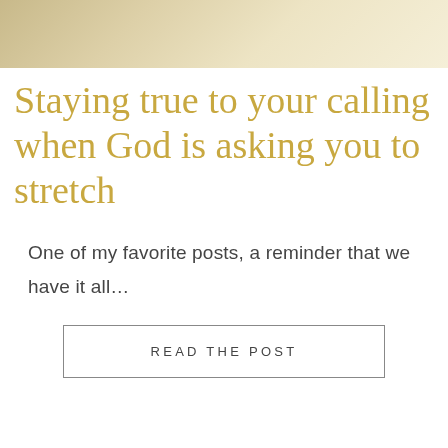[Figure (photo): Partial cropped photo at top of page, showing a light cream/golden toned image, appears to be a person or object with soft warm colors]
Staying true to your calling when God is asking you to stretch
One of my favorite posts, a reminder that we have it all…
READ THE POST